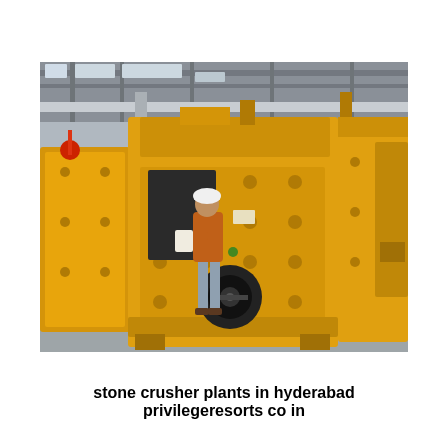[Figure (photo): A large yellow industrial stone crusher machine in a factory/warehouse setting. A worker in an orange jacket and white hard hat stands beside the machine for scale. The machine is painted bright yellow with large metal components, bolts, and a black pulley wheel visible. Overhead crane infrastructure is visible in the background.]
stone crusher plants in hyderabad privilegeresorts co in